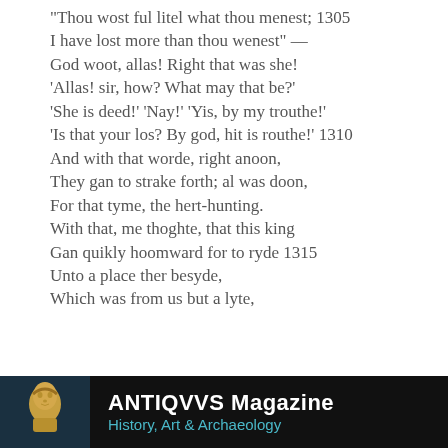"Thou wost ful litel what thou menest; 1305
I have lost more than thou wenest" —
God woot, allas! Right that was she!
'Allas! sir, how? What may that be?'
'She is deed!' 'Nay!' 'Yis, by my trouthe!'
'Is that your los? By god, hit is routhe!' 1310
And with that worde, right anoon,
They gan to strake forth; al was doon,
For that tyme, the hert-hunting.
With that, me thoghte, that this king
Gan quikly hoomward for to ryde 1315
Unto a place ther besyde,
Which was from us but a lyte,
[Figure (logo): ANTIQVVS Magazine banner with golden classical bust statue on dark background, subtitle: History, Art & Archaeology]